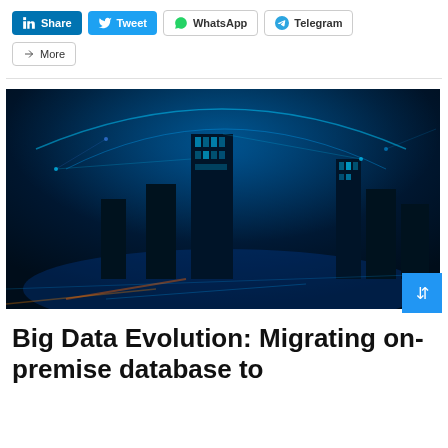[Figure (other): Social sharing buttons bar: LinkedIn Share, Tweet, WhatsApp, Telegram]
[Figure (photo): Futuristic digital city skyline with blue glowing network connections and data visualization overlay at night]
Big Data Evolution: Migrating on-premise database to